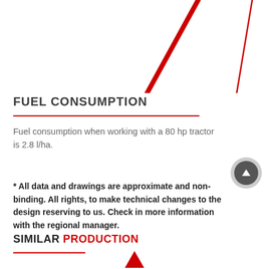[Figure (illustration): Partial view of a gauge or meter with red needle pointer, partially cropped at top of page]
FUEL CONSUMPTION
Fuel consumption when working with a 80 hp tractor is 2.8 l/ha.
* All data and drawings are approximate and non-binding. All rights, to make technical changes to the design reserving to us. Check in more information with the regional manager.
SIMILAR PRODUCTION
[Figure (illustration): Partial view of a red arrow or pointer at bottom of page, cropped]